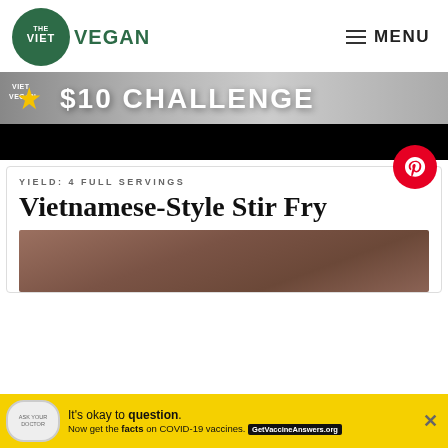THE VIET VEGAN — MENU
[Figure (photo): Banner advertisement for '$10 Challenge' with star logo and dark background]
YIELD: 4 FULL SERVINGS
Vietnamese-Style Stir Fry
[Figure (photo): Food photograph showing Vietnamese-Style Stir Fry dish with brown/warm tones]
[Figure (other): Ad banner: It's okay to question. Now get the facts on COVID-19 vaccines. GetVaccineAnswers.org]